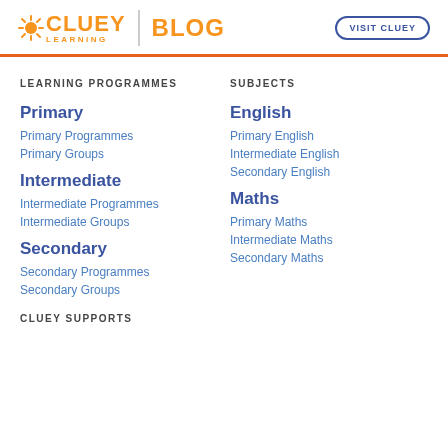[Figure (logo): Cluey Learning logo with sun icon and BLOG text]
LEARNING PROGRAMMES
SUBJECTS
Primary
Primary Programmes
Primary Groups
English
Primary English
Intermediate English
Secondary English
Intermediate
Intermediate Programmes
Intermediate Groups
Maths
Primary Maths
Intermediate Maths
Secondary Maths
Secondary
Secondary Programmes
Secondary Groups
CLUEY SUPPORTS